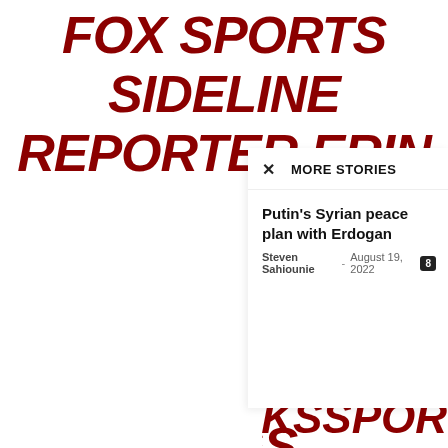FOX SPORTS SIDELINE REPORTER ERIN ANDREWS DOES THINK AARON HUGS LONG SAME — BILL BURT (@BURTTALKSSPORTS)
MORE STORIES
Putin's Syrian peace plan with Erdogan
Steven Sahiounie - August 19, 2022